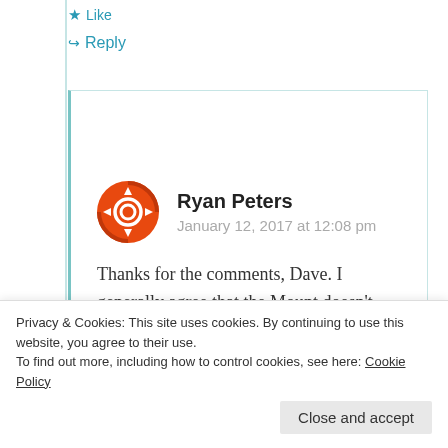★ Like
↪ Reply
Ryan Peters
January 12, 2017 at 12:08 pm
Thanks for the comments, Dave. I generally agree that the Mount doesn't usually get as much consideration
coverage, social media, etc. I do
Privacy & Cookies: This site uses cookies. By continuing to use this website, you agree to their use.
To find out more, including how to control cookies, see here: Cookie Policy
Close and accept